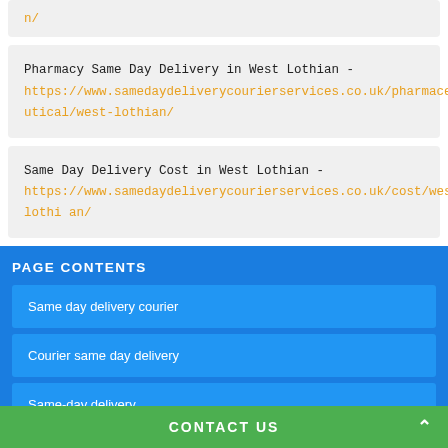n/
Pharmacy Same Day Delivery in West Lothian - https://www.samedaydeliverycourierservices.co.uk/pharmaceutical/west-lothian/
Same Day Delivery Cost in West Lothian - https://www.samedaydeliverycourierservices.co.uk/cost/west-lothian/
PAGE CONTENTS
Same day delivery courier
Courier same day delivery
Same-day delivery
CONTACT US